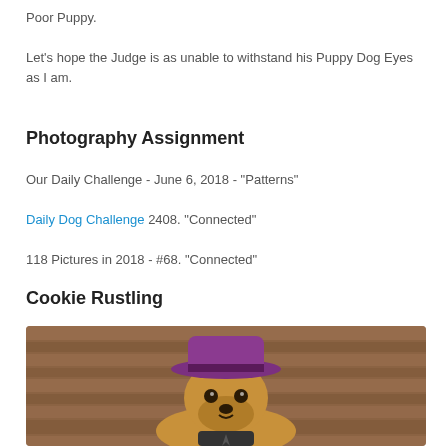Poor Puppy.
Let's hope the Judge is as unable to withstand his Puppy Dog Eyes as I am.
Photography Assignment
Our Daily Challenge - June 6, 2018 - "Patterns"
Daily Dog Challenge 2408. "Connected"
118 Pictures in 2018 - #68. "Connected"
Cookie Rustling
[Figure (photo): A golden retriever dog wearing a purple/magenta fedora hat and dark outfit, posed in front of a rustic wooden wall background, styled as a comical 'gangster' or 'detective' character.]